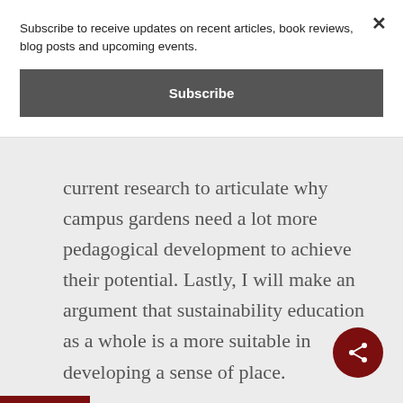Subscribe to receive updates on recent articles, book reviews, blog posts and upcoming events.
Subscribe
current research to articulate why campus gardens need a lot more pedagogical development to achieve their potential. Lastly, I will make an argument that sustainability education as a whole is a more suitable in developing a sense of place.